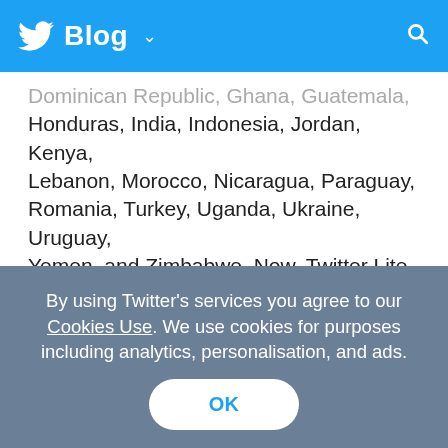Blog
Dominican Republic, Ghana, Guatemala, Honduras, India, Indonesia, Jordan, Kenya, Lebanon, Morocco, Nicaragua, Paraguay, Romania, Turkey, Uganda, Ukraine, Uruguay, Yemen, and Zimbabwe. Now, Twitter Lite will be available in the Google Play Store in more than 45 countries.
Here are a few ways Twitter Lite makes Twitter more accessible, fast, and data-friendly for you:
By using Twitter's services you agree to our Cookies Use. We use cookies for purposes including analytics, personalisation, and ads.